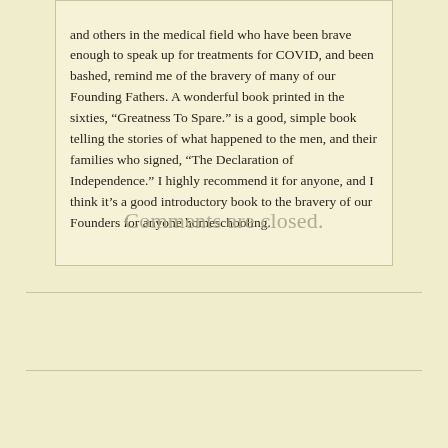and others in the medical field who have been brave enough to speak up for treatments for COVID, and been bashed, remind me of the bravery of many of our Founding Fathers. A wonderful book printed in the sixties, “Greatness To Spare.” is a good, simple book telling the stories of what happened to the men, and their families who signed, “The Declaration of Independence.” I highly recommend it for anyone, and I think it’s a good introductory book to the bravery of our Founders for anyone homeschooling.
Comments are closed.